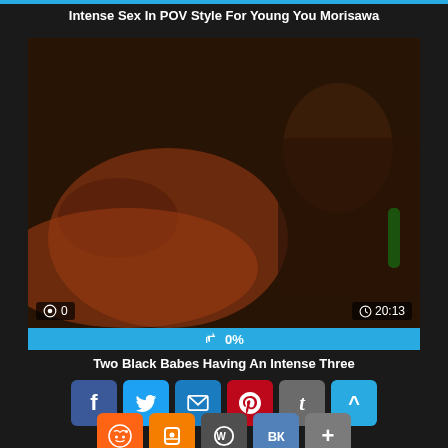Intense Sex In POV Style For Young You Morisawa
[Figure (photo): Video thumbnail showing adult content with views overlay showing 0 and duration 20:13]
👍 0%
Two Black Babes Having An Intense Three
[Figure (infographic): Social media share buttons: Facebook, Twitter, Email, Pinterest, Tumblr, scroll-up, Reddit, Blogger, WordPress, VK, More]